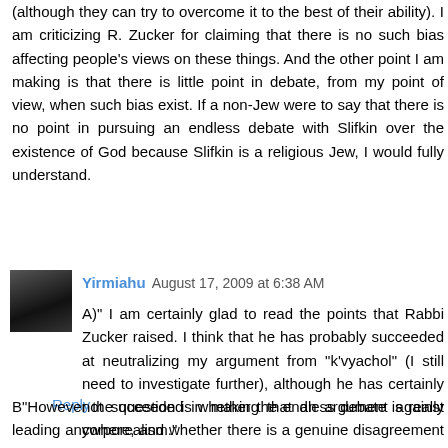(although they can try to overcome it to the best of their ability). I am criticizing R. Zucker for claiming that there is no such bias affecting people's views on these things. And the other point I am making is that there is little point in debate, from my point of view, when such bias exist. If a non-Jew were to say that there is no point in pursuing an endless debate with Slifkin over the existence of God because Slifkin is a religious Jew, I would fully understand.
Reply
Yirmiahu August 17, 2009 at 6:38 AM
A)" I am certainly glad to read the points that Rabbi Zucker raised. I think that he has probably succeeded at neutralizing my argument from "k'vyachol" (I still need to investigate further), although he has certainly not succeeded in making that an argument against corporealism."
B"However the question is whether the endless debate is really leading anywhere, and whether there is a genuine disagreement between the sides, or whether the thing is